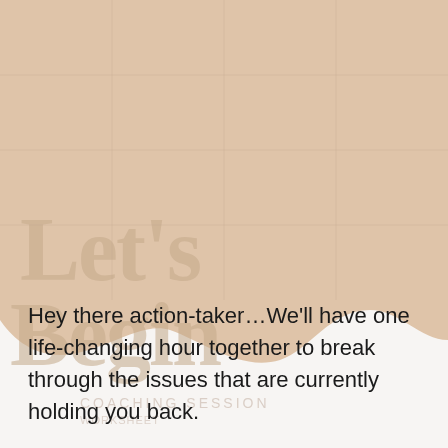[Figure (illustration): Beige/tan wavy shape filling the top portion of the page with a grid pattern overlay and large faded text 'Let's Begin' in the lower portion of the shape. The wave curves down to a white/cream background at the bottom of the shape.]
Hey there action-taker…We'll have one life-changing hour together to break through the issues that are currently holding you back.